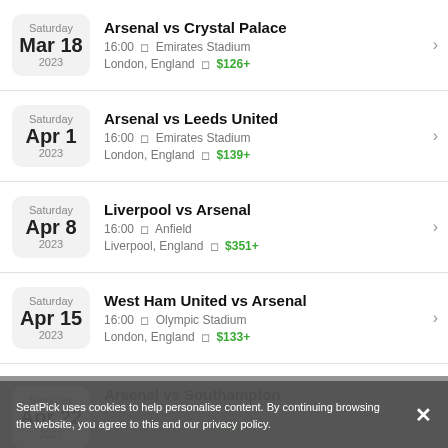Saturday Mar 18 2023 — Arsenal vs Crystal Palace — 16:00 · Emirates Stadium — London, England · $126+
Saturday Apr 1 2023 — Arsenal vs Leeds United — 16:00 · Emirates Stadium — London, England · $139+
Saturday Apr 8 2023 — Liverpool vs Arsenal — 16:00 · Anfield — Liverpool, England · $351+
Saturday Apr 15 2023 — West Ham United vs Arsenal — 16:00 · Olympic Stadium — London, England · $133+
SeatPick uses cookies to help personalise content. By continuing browsing the website, you agree to this and our privacy policy.
Arsenal vs Southampton — 16:00 · Emirates Stadium — London, England · $126+ — Apr 22 2023